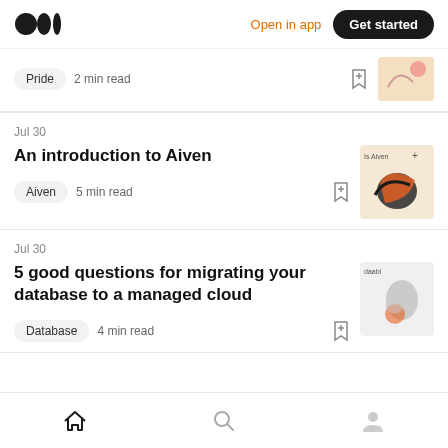Medium logo | Open in app | Get started
Pride · 2 min read (partial item at top)
Jul 30
An introduction to Aiven
Aiven · 5 min read
Jul 30
5 good questions for migrating your database to a managed cloud
Database · 4 min read
Home | Search | Profile